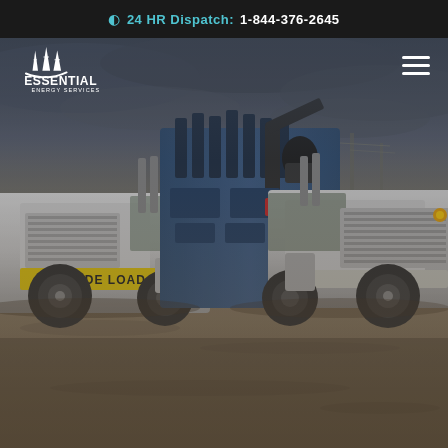24 HR Dispatch: 1-844-376-2645
[Figure (logo): Essential Energy Services logo — white oil derrick/tower icons above a white swoosh arc, with 'ESSENTIAL' in bold white uppercase and 'ENERGY SERVICES' in smaller white uppercase below]
[Figure (photo): Industrial oilfield service trucks (white Kenworth semi-trucks) parked on a gravel/dirt lot under a dramatic overcast sky. The center truck carries a large blue coiled tubing or wireline unit. A yellow 'WIDE LOAD' sign is visible on the front bumper of the left truck.]